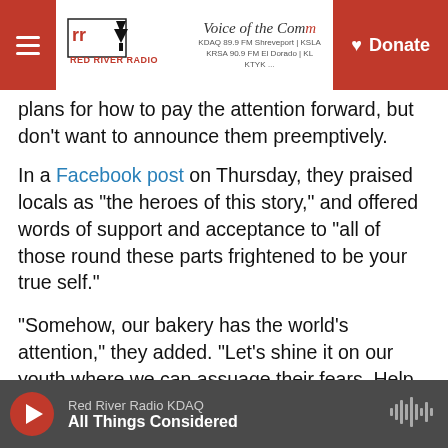Red River Radio | Voice of the Community | Donate
plans for how to pay the attention forward, but don't want to announce them preemptively.
In a Facebook post on Thursday, they praised locals as "the heroes of this story," and offered words of support and acceptance to "all of those round these parts frightened to be your true self."
"Somehow, our bakery has the world's attention," they added. "Let's shine it on our youth where we can assuage their fears. Help guide their way with kindness and care. We have this moment."
Copyright 2021 NPR. To see more, visit
Red River Radio KDAQ | All Things Considered